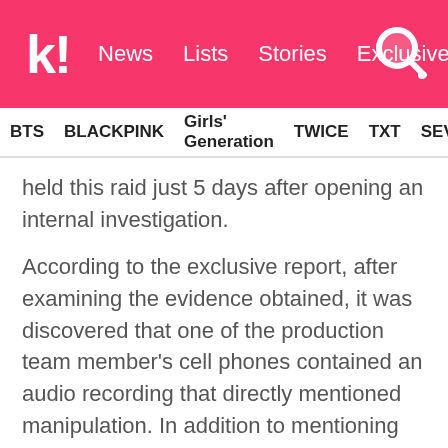k! News  Lists  Stories  Exclusives
BTS   BLACKPINK   Girls' Generation   TWICE   TXT   SEVE
held this raid just 5 days after opening an internal investigation.
According to the exclusive report, after examining the evidence obtained, it was discovered that one of the production team member's cell phones contained an audio recording that directly mentioned manipulation. In addition to mentioning the manipulation of Produce X 101, manipulation of other seasons was also mentioned. With this evidence, police conducted a second search and seizure on August 12, this time of CJ E&M headquarters and the staff member's house.